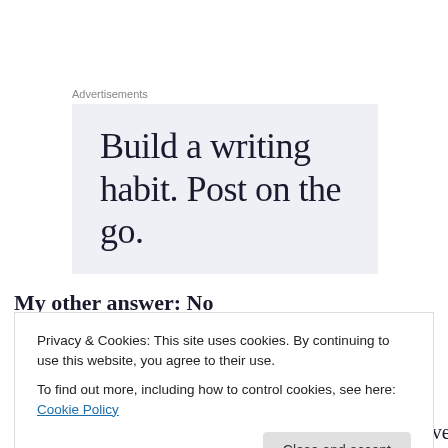Advertisements
[Figure (other): Advertisement banner with light blue-grey background showing the text 'Build a writing habit. Post on the go.' in large serif font.]
My other answer: No
Privacy & Cookies: This site uses cookies. By continuing to use this website, you agree to their use.
To find out more, including how to control cookies, see here: Cookie Policy
is one of those questions of which the answer one gives